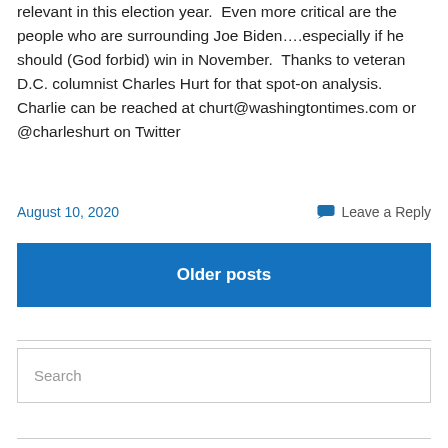relevant in this election year.  Even more critical are the people who are surrounding Joe Biden….especially if he should (God forbid) win in November.  Thanks to veteran D.C. columnist Charles Hurt for that spot-on analysis. Charlie can be reached at churt@washingtontimes.com or @charleshurt on Twitter
August 10, 2020
Leave a Reply
Older posts
Search